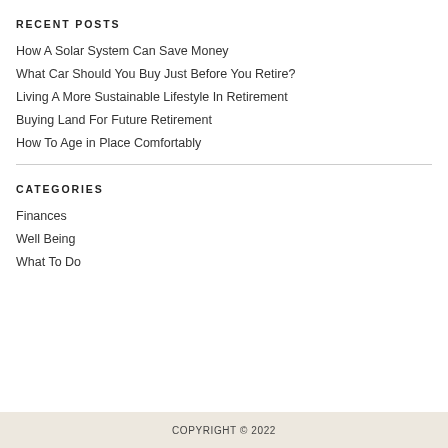RECENT POSTS
How A Solar System Can Save Money
What Car Should You Buy Just Before You Retire?
Living A More Sustainable Lifestyle In Retirement
Buying Land For Future Retirement
How To Age in Place Comfortably
CATEGORIES
Finances
Well Being
What To Do
COPYRIGHT © 2022